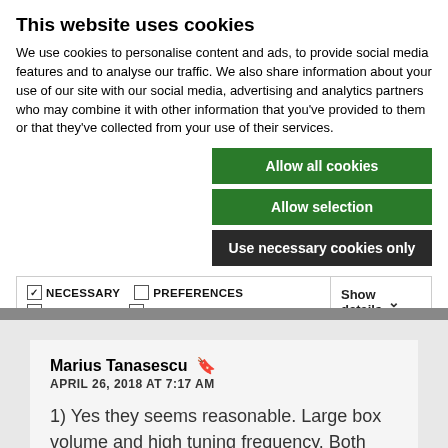This website uses cookies
We use cookies to personalise content and ads, to provide social media features and to analyse our traffic. We also share information about your use of our site with our social media, advertising and analytics partners who may combine it with other information that you've provided to them or that they've collected from your use of their services.
Allow all cookies
Allow selection
Use necessary cookies only
| ✓ NECESSARY | ☐ PREFERENCES | ☐ STATISTICS | Show details ∨ |
| ☐ MARKETING |  |  |  |
Marius Tanasescu
APRIL 26, 2018 AT 7:17 AM
1) Yes they seems reasonable. Large box volume and high tuning frequency. Both factors lead to shorter port length.